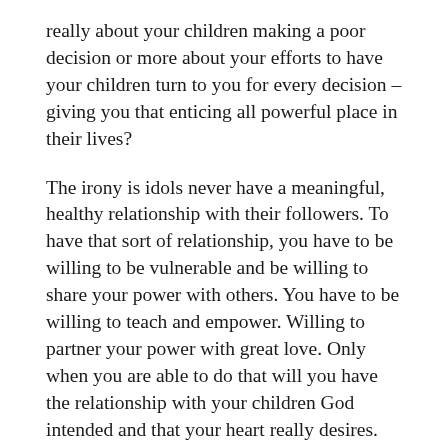really about your children making a poor decision or more about your efforts to have your children turn to you for every decision – giving you that enticing all powerful place in their lives?
The irony is idols never have a meaningful, healthy relationship with their followers. To have that sort of relationship, you have to be willing to be vulnerable and be willing to share your power with others. You have to be willing to teach and empower. Willing to partner your power with great love. Only when you are able to do that will you have the relationship with your children God intended and that your heart really desires.
Please note: I am not talking about the healthy discipline of children. This discussion is about behaviors like insisting on choosing your child's major in college (usually involving none of your